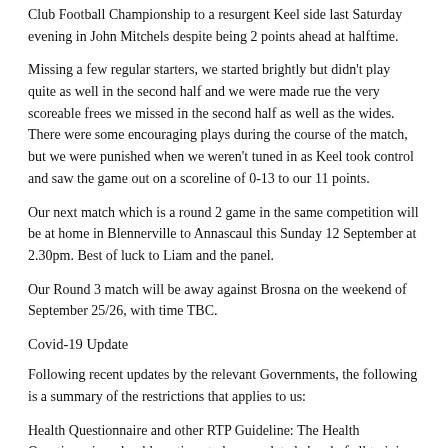Club Football Championship to a resurgent Keel side last Saturday evening in John Mitchels despite being 2 points ahead at halftime.
Missing a few regular starters, we started brightly but didn't play quite as well in the second half and we were made rue the very scoreable frees we missed in the second half as well as the wides. There were some encouraging plays during the course of the match, but we were punished when we weren't tuned in as Keel took control and saw the game out on a scoreline of 0-13 to our 11 points.
Our next match which is a round 2 game in the same competition will be at home in Blennerville to Annascaul this Sunday 12 September at 2.30pm. Best of luck to Liam and the panel.
Our Round 3 match will be away against Brosna on the weekend of September 25/26, with time TBC.
Covid-19 Update
Following recent updates by the relevant Governments, the following is a summary of the restrictions that applies to us:
Health Questionnaire and other RTP Guideline: The Health Questionnaires should continue to be completed ahead of all training sessions and games and the Return to Play guidelines issued earlier in the year should continue to be adhered to. It is important to note, that regardless of whether a player/participant